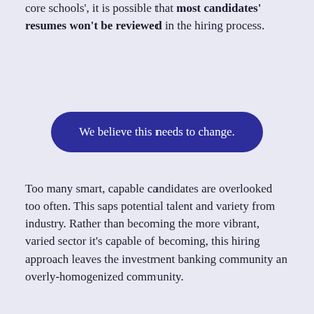core schools', it is possible that most candidates' resumes won't be reviewed in the hiring process.
We believe this needs to change.
Too many smart, capable candidates are overlooked too often. This saps potential talent and variety from industry. Rather than becoming the more vibrant, varied sector it's capable of becoming, this hiring approach leaves the investment banking community an overly-homogenized community.